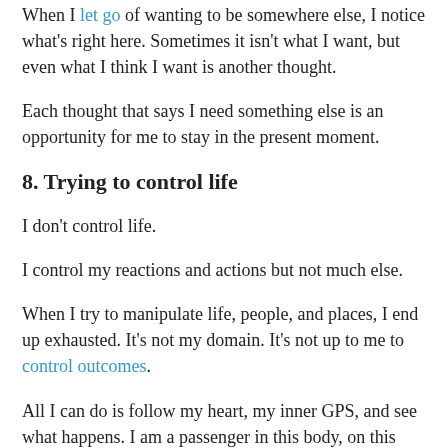When I let go of wanting to be somewhere else, I notice what's right here. Sometimes it isn't what I want, but even what I think I want is another thought.
Each thought that says I need something else is an opportunity for me to stay in the present moment.
8. Trying to control life
I don't control life.
I control my reactions and actions but not much else.
When I try to manipulate life, people, and places, I end up exhausted. It's not my domain. It's not up to me to control outcomes.
All I can do is follow my heart, my inner GPS, and see what happens. I am a passenger in this body, on this blue planet of ours.
I am here to experience both the good and the bad. I am here to learn and to grow. To cry and to laugh.